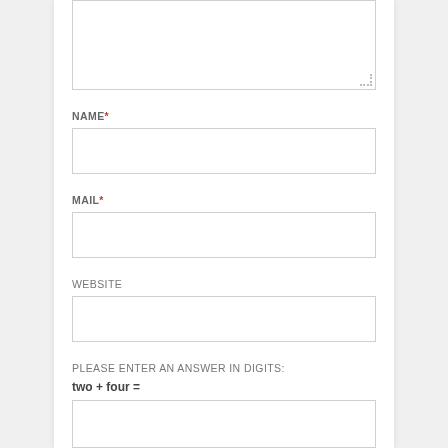[textarea input box]
NAME*
[name input box]
MAIL*
[mail input box]
WEBSITE
[website input box]
PLEASE ENTER AN ANSWER IN DIGITS:
two + four =
[answer input box]